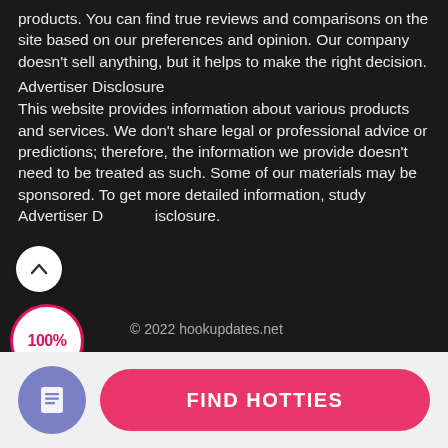products. You can find true reviews and comparisons on the site based on our preferences and opinion. Our company doesn't sell anything, but it helps to make the right decision.
Advertiser Disclosure
This website provides information about various products and services. We don't share legal or professional advice or predictions; therefore, the information we provide doesn't need to be treated as such. Some of our materials may be sponsored. To get more detailed information, study Advertiser Disclosure.
[Figure (other): White circular scroll-up button with upward chevron arrow]
[Figure (other): Circular badge showing 100% in red text with red border]
© 2022 hookupdates.net
[Figure (other): Purple circular icon with document/list symbol]
FIND HOTTIES